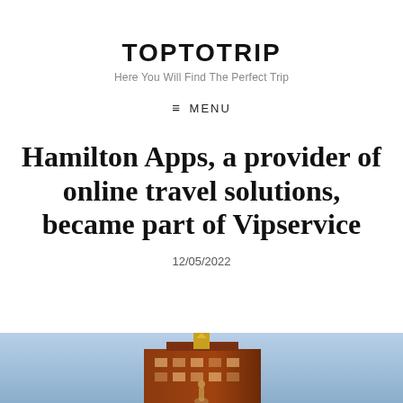TOPTOTRIP
Here You Will Find The Perfect Trip
≡ MENU
Hamilton Apps, a provider of online travel solutions, became part of Vipservice
12/05/2022
[Figure (photo): Advertisement banner image showing a building or structure against a blue sky, with AD·16+ badge in top-left corner and a three-dot menu button in top-right corner.]